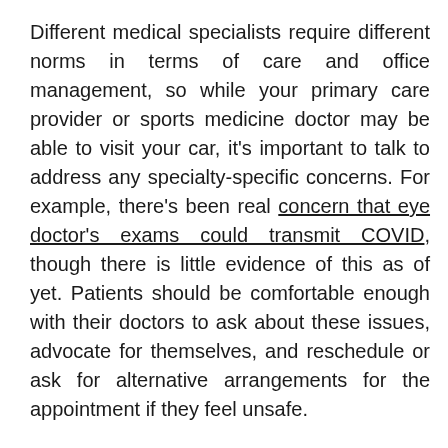Different medical specialists require different norms in terms of care and office management, so while your primary care provider or sports medicine doctor may be able to visit your car, it's important to talk to address any specialty-specific concerns. For example, there's been real concern that eye doctor's exams could transmit COVID, though there is little evidence of this as of yet. Patients should be comfortable enough with their doctors to ask about these issues, advocate for themselves, and reschedule or ask for alternative arrangements for the appointment if they feel unsafe.
If you're scheduled for an in-person doctor's visit, it's important to take appropriate precautions, and talk to your doctor in advance, and don't worry that